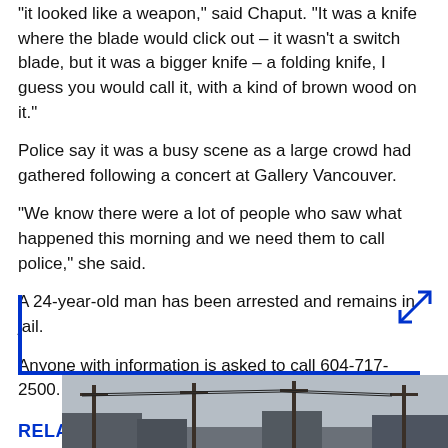"it looked like a weapon," said Chaput. "It was a knife where the blade would click out – it wasn't a switch blade, but it was a bigger knife – a folding knife, I guess you would call it, with a kind of brown wood on it."
Police say it was a busy scene as a large crowd had gathered following a concert at Gallery Vancouver.
"We know there were a lot of people who saw what happened this morning and we need them to call police," she said.
A 24-year-old man has been arrested and remains in jail.
Anyone with information is asked to call 604-717-2500.
RELATED IMAGES
[Figure (photo): Outdoor street scene showing utility poles with power lines against an overcast sky]